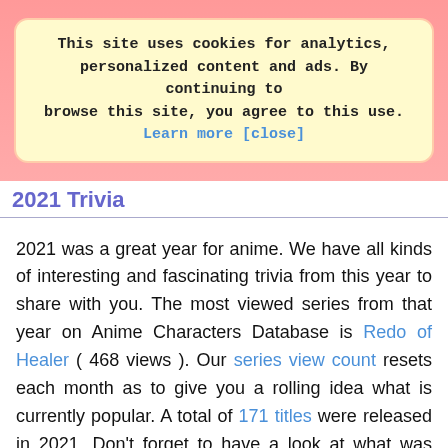This site uses cookies for analytics, personalized content and ads. By continuing to browse this site, you agree to this use. Learn more [close]
2021 Trivia
2021 was a great year for anime. We have all kinds of interesting and fascinating trivia from this year to share with you. The most viewed series from that year on Anime Characters Database is Redo of Healer ( 468 views ). Our series view count resets each month as to give you a rolling idea what is currently popular. A total of 171 titles were released in 2021. Don't forget to have a look at what was most popular - you can even filter the list by genre helping you to more quickly spot titles that may be to your liking. By the way, it is possible we missed a title from this year, and